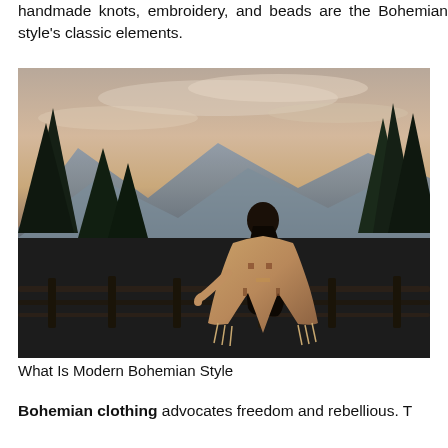handmade knots, embroidery, and beads are the Bohemian style's classic elements.
[Figure (photo): A woman seen from behind wearing a bohemian-style patterned blanket/poncho, standing at a wooden railing overlooking mountains and trees at dusk/sunset with a dramatic sky.]
What Is Modern Bohemian Style
Bohemian clothing advocates freedom and rebellious. T